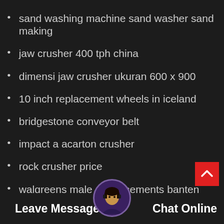sand washing machine sand washer sand making
jaw crusher 400 tph china
dimensi jaw crusher ukuran 600 x 900
10 inch replacement wheels in iceland
bridgestone conveyor belt
impact a acarton crusher
rock crusher price
walgreens male enhancements banten
high quality hot sale china jaw crusher
used mobile crusher price nigeria iron ore crush machine
cement pressure on equipment brasil
Leave Message   Chat Online